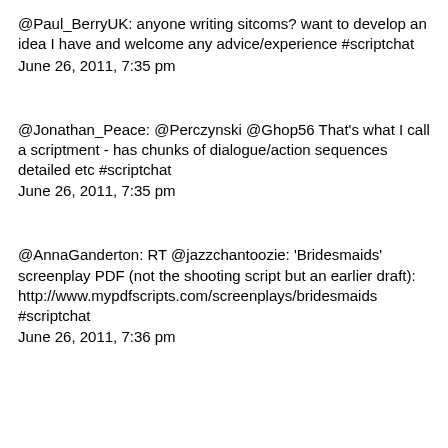@Paul_BerryUK: anyone writing sitcoms? want to develop an idea I have and welcome any advice/experience #scriptchat
June 26, 2011, 7:35 pm
@Jonathan_Peace: @Perczynski @Ghop56 That's what I call a scriptment - has chunks of dialogue/action sequences detailed etc #scriptchat
June 26, 2011, 7:35 pm
@AnnaGanderton: RT @jazzchantoozie: 'Bridesmaids' screenplay PDF (not the shooting script but an earlier draft): http://www.mypdfscripts.com/screenplays/bridesmaids #scriptchat
June 26, 2011, 7:36 pm